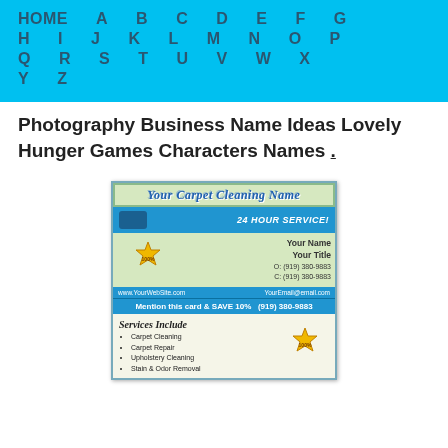HOME A B C D E F G H I J K L M N O P Q R S T U V W X Y Z
Photography Business Name Ideas Lovely Hunger Games Characters Names .
[Figure (illustration): Carpet cleaning business card template showing 'Your Carpet Cleaning Name', '24 HOUR SERVICE!', worker figures, 100% satisfaction seal, contact info placeholders, website/email bar, save 10% promotion, and services list including Carpet Cleaning, Carpet Repair, Upholstery Cleaning, Stain & Odor Removal.]